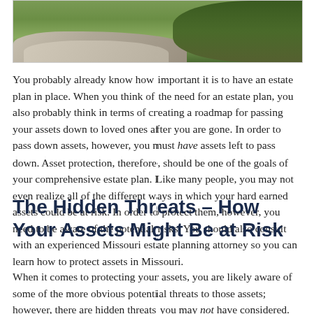[Figure (photo): Outdoor photo showing rocks and green bushes/foliage in a garden or natural setting]
You probably already know how important it is to have an estate plan in place. When you think of the need for an estate plan, you also probably think in terms of creating a roadmap for passing your assets down to loved ones after you are gone. In order to pass down assets, however, you must have assets left to pass down. Asset protection, therefore, should be one of the goals of your comprehensive estate plan. Like many people, you may not even realize all of the different ways in which your hard earned assets could be at risk. In order to protect them, however, you need to be aware of the potential risks. You should also consult with an experienced Missouri estate planning attorney so you can learn how to protect assets in Missouri.
The Hidden Threats – How Your Assets Might Be at Risk
When it comes to protecting your assets, you are likely aware of some of the more obvious potential threats to those assets; however, there are hidden threats you may not have considered.